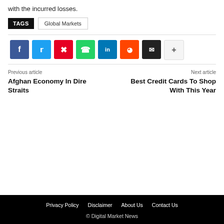with the incurred losses.
TAGS  Global Markets
[Figure (other): Social sharing buttons row: Facebook, Twitter, Pinterest, WhatsApp, LinkedIn, Reddit, Email, More (+)]
Previous article
Afghan Economy In Dire Straits
Next article
Best Credit Cards To Shop With This Year
Privacy Policy  Disclaimer  About Us  Contact Us
© Digital Market News